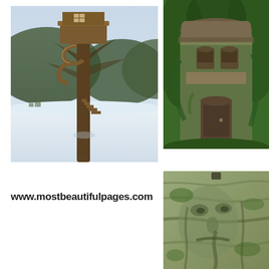[Figure (photo): A tall bare tree with a wooden treehouse structure near the top, connected by a spiral walkway and stairs. Snowy winter landscape with hills and a small village in the background.]
[Figure (photo): A large moss and ivy-covered stone tower structure resembling a building with a door and windows, surrounded by green forest.]
www.mostbeautifulpages.com
[Figure (photo): Close-up of a gnarled, ancient tree trunk with moss and textured bark, featuring a small carved or natural face-like appearance in the wood.]